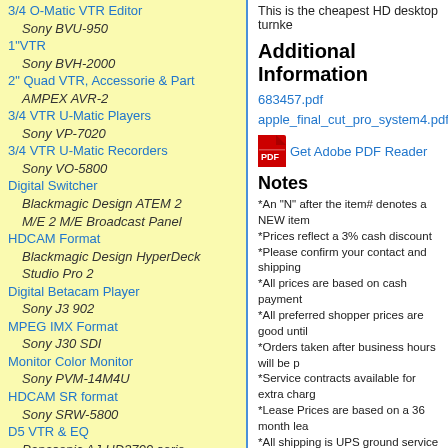3/4 O-Matic VTR Editor
Sony BVU-950
1"VTR
Sony BVH-2000
2" Quad VTR, Accessorie & Part
AMPEX AVR-2
3/4 VTR U-Matic Players
Sony VP-7020
3/4 VTR U-Matic Recorders
Sony VO-5800
Digital Switcher
Blackmagic Design ATEM 2 M/E 2 M/E Broadcast Panel
HDCAM Format
Blackmagic Design HyperDeck Studio Pro 2
Digital Betacam Player
Sony J3 902
MPEG IMX Format
Sony J30 SDI
Monitor Color Monitor
Sony PVM-14M4U
HDCAM SR format
Sony SRW-5800
D5 VTR & EQ
Panasonic AJ-HD3700 serie
Playback Systems & Carts
Sony FLEXICART BFC-1
Pedestal
Vinten 3702 FULMAR
Hard drives & Storage Systems
G-Tech G-Raid 4TB
This is the cheapest HD desktop turnke...
Additional Information
683457.pdf
apple_final_cut_pro_system4.pdf
[Figure (other): Adobe PDF Reader icon (red PDF logo)]
Get Adobe PDF Reader
Notes
*An "N" after the item# denotes a NEW item
*Prices reflect a 3% cash discount
*Please confirm your contact and shipping
*All prices are based on cash payment
*All preferred shopper prices are good until
*Orders taken after business hours will be p
*Service contracts available for extra charg
*Lease Prices are based on a 36 month lea
*All shipping is UPS ground service unless